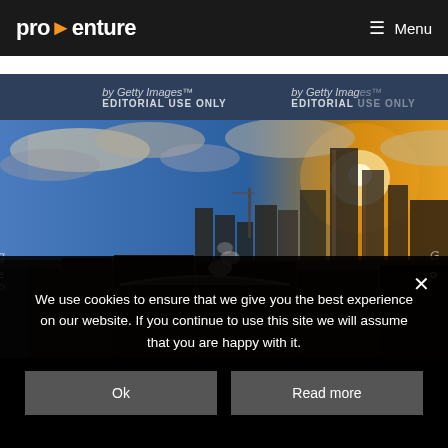pro>enture   Menu
[Figure (photo): Aerial cityscape photo at sunset showing a dense urban skyline with tall modern skyscrapers, a train station with steam, and dramatic clouds. Watermark text: 'by Getty Images™' and 'EDITORIAL USE ONLY' visible twice across the image.]
We use cookies to ensure that we give you the best experience on our website. If you continue to use this site we will assume that you are happy with it.